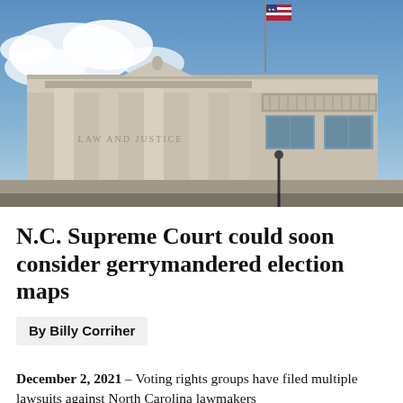[Figure (photo): Exterior of a neoclassical courthouse building labeled 'LAW AND JUSTICE', with columns and decorative Greek key frieze, American flag visible at top, blue sky with clouds in background.]
N.C. Supreme Court could soon consider gerrymandered election maps
By Billy Corriher
December 2, 2021 – Voting rights groups have filed multiple lawsuits against North Carolina lawmakers